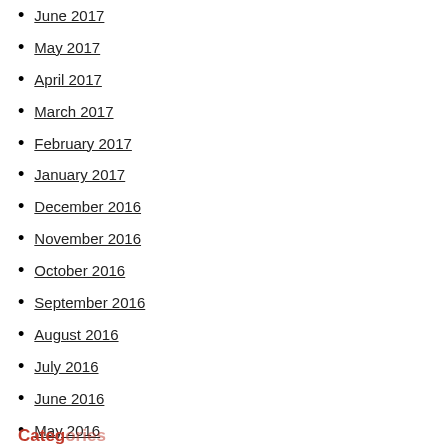June 2017
May 2017
April 2017
March 2017
February 2017
January 2017
December 2016
November 2016
October 2016
September 2016
August 2016
July 2016
June 2016
May 2016
April 2016
March 2016
Categories